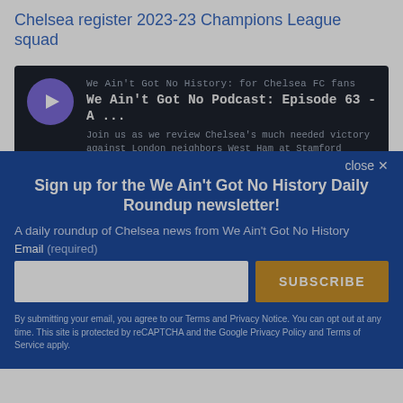Chelsea register 2023-23 Champions League squad
[Figure (screenshot): Podcast player card with dark background showing 'We Ain't Got No History: for Chelsea FC fans' — 'We Ain't Got No Podcast: Episode 63 - A ...' with description: 'Join us as we review Chelsea's much needed victory against London neighbors West Ham at Stamford Bridge.' Timestamp 00:00:00 shown.]
close ×
Sign up for the We Ain't Got No History Daily Roundup newsletter!
A daily roundup of Chelsea news from We Ain't Got No History
Email (required)
SUBSCRIBE
By submitting your email, you agree to our Terms and Privacy Notice. You can opt out at any time. This site is protected by reCAPTCHA and the Google Privacy Policy and Terms of Service apply.